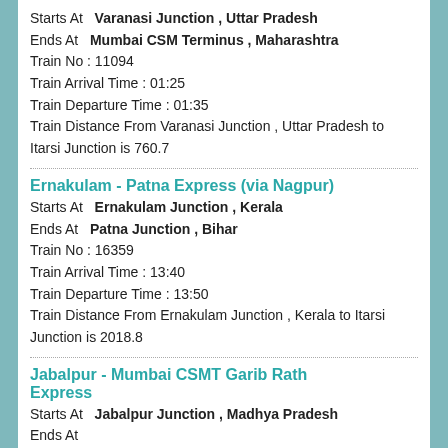Starts At   Varanasi Junction , Uttar Pradesh
Ends At   Mumbai CSM Terminus , Maharashtra
Train No : 11094
Train Arrival Time : 01:25
Train Departure Time : 01:35
Train Distance From Varanasi Junction , Uttar Pradesh to Itarsi Junction is 760.7
Ernakulam - Patna Express (via Nagpur)
Starts At   Ernakulam Junction , Kerala
Ends At   Patna Junction , Bihar
Train No : 16359
Train Arrival Time : 13:40
Train Departure Time : 13:50
Train Distance From Ernakulam Junction , Kerala to Itarsi Junction is 2018.8
Jabalpur - Mumbai CSMT Garib Rath Express
Starts At   Jabalpur Junction , Madhya Pradesh
Ends At  
Train No : 12187
Train Arrival Time : 23:35
Train Departure Time : 23:45
Train Distance From Jabalpur Junction , Madhya Pradesh to Itarsi Junction is 245.2
Udyogkarmi Express
Starts At   Valsad , Daman & Diu
Ends At   Kanpur Central , Uttar Pradesh